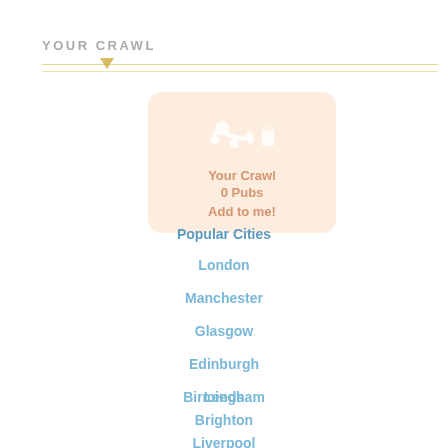YOUR CRAWL
[Figure (illustration): Crawl card with person crawling icon, showing 'Your Crawl 0 Pubs Add to me!' on a peach/orange rounded rectangle background]
Popular Cities
London
Manchester
Glasgow
Edinburgh
Birmingham
Leeds
Brighton
Liverpool